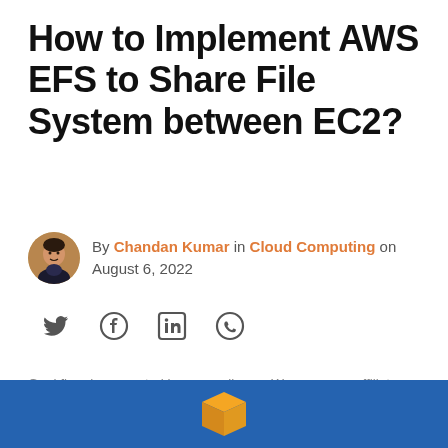How to Implement AWS EFS to Share File System between EC2?
By Chandan Kumar in Cloud Computing on August 6, 2022
[Figure (infographic): Social share icons: Twitter (bird), Facebook (f), LinkedIn (in), WhatsApp (phone)]
Geekflare is supported by our audience. We may earn affiliate commissions from buying links on this site.
[Figure (illustration): Blue banner with AWS-style orange 3D box icon at the bottom of the page]